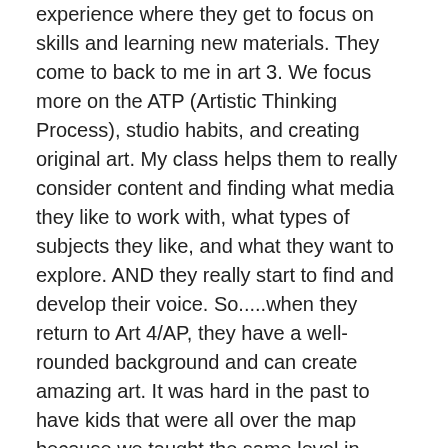experience where they get to focus on skills and learning new materials. They come to back to me in art 3. We focus more on the ATP (Artistic Thinking Process), studio habits, and creating original art. My class helps them to really consider content and finding what media they like to work with, what types of subjects they like, and what they want to explore. AND they really start to find and develop their voice. So.....when they return to Art 4/AP, they have a well-rounded background and can create amazing art. It was hard in the past to have kids that were all over the map because we taught the same level in totally different styles. I understand that as a TAB teacher, I always meet students where they are, but this isn't about meeting students at their artistic level, this is about the students have a common base knowledge that allows both teachers to better meet the students needs.